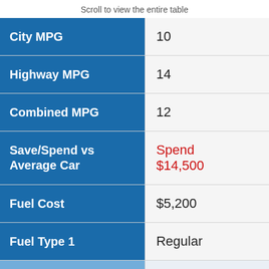Scroll to view the entire table
|  |  |
| --- | --- |
| City MPG | 10 |
| Highway MPG | 14 |
| Combined MPG | 12 |
| Save/Spend vs Average Car | Spend $14,500 |
| Fuel Cost | $5,200 |
| Fuel Type 1 | Regular |
| Barrels of | 25 |